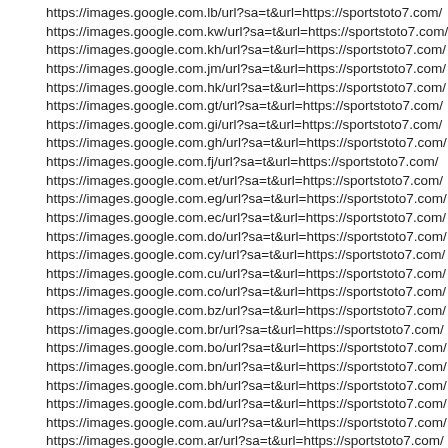https://images.google.com.lb/url?sa=t&url=https://sportstoto7.com/
https://images.google.com.kw/url?sa=t&url=https://sportstoto7.com/
https://images.google.com.kh/url?sa=t&url=https://sportstoto7.com/
https://images.google.com.jm/url?sa=t&url=https://sportstoto7.com/
https://images.google.com.hk/url?sa=t&url=https://sportstoto7.com/
https://images.google.com.gt/url?sa=t&url=https://sportstoto7.com/
https://images.google.com.gi/url?sa=t&url=https://sportstoto7.com/
https://images.google.com.gh/url?sa=t&url=https://sportstoto7.com/
https://images.google.com.fj/url?sa=t&url=https://sportstoto7.com/
https://images.google.com.et/url?sa=t&url=https://sportstoto7.com/
https://images.google.com.eg/url?sa=t&url=https://sportstoto7.com/
https://images.google.com.ec/url?sa=t&url=https://sportstoto7.com/
https://images.google.com.do/url?sa=t&url=https://sportstoto7.com/
https://images.google.com.cy/url?sa=t&url=https://sportstoto7.com/
https://images.google.com.cu/url?sa=t&url=https://sportstoto7.com/
https://images.google.com.co/url?sa=t&url=https://sportstoto7.com/
https://images.google.com.bz/url?sa=t&url=https://sportstoto7.com/
https://images.google.com.br/url?sa=t&url=https://sportstoto7.com/
https://images.google.com.bo/url?sa=t&url=https://sportstoto7.com/
https://images.google.com.bn/url?sa=t&url=https://sportstoto7.com/
https://images.google.com.bh/url?sa=t&url=https://sportstoto7.com/
https://images.google.com.bd/url?sa=t&url=https://sportstoto7.com/
https://images.google.com.au/url?sa=t&url=https://sportstoto7.com/
https://images.google.com.ar/url?sa=t&url=https://sportstoto7.com/
https://images.google.com.ag/url?sa=t&url=https://sportstoto7.com/